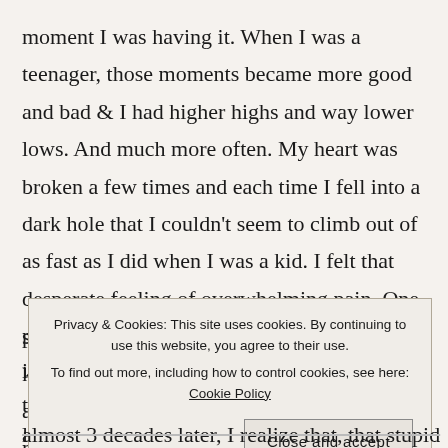moment I was having it. When I was a teenager, those moments became more good and bad & I had higher highs and way lower lows. And much more often. My heart was broken a few times and each time I fell into a dark hole that I couldn't seem to climb out of as fast as I did when I was a kid. I felt that desperate feeling of overwhelming pain. One particular time, when a boy hurt me, my dad knocked at my door and sat down on my bed, and told me that this might happen a few more times but
Privacy & Cookies: This site uses cookies. By continuing to use this website, you agree to their use.
To find out more, including how to control cookies, see here: Cookie Policy
[Close and accept]
almost 3 decades later, I realize that, that stupid boy that